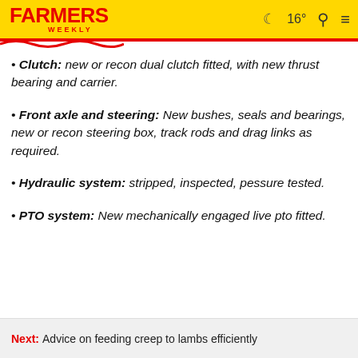FARMERS WEEKLY  16°
• Clutch: new or recon dual clutch fitted, with new thrust bearing and carrier.
• Front axle and steering: New bushes, seals and bearings, new or recon steering box, track rods and drag links as required.
• Hydraulic system: stripped, inspected, pessure tested.
• PTO system: New mechanically engaged live pto fitted.
Next: Advice on feeding creep to lambs efficiently